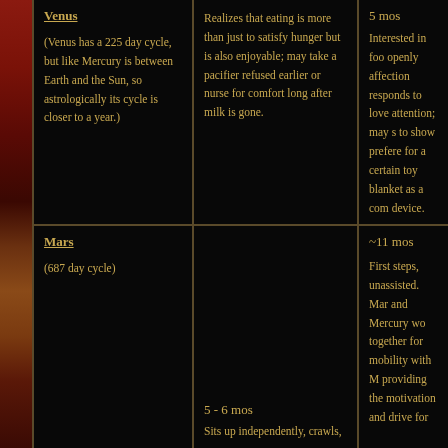| Planet | Age/Milestone | Development |
| --- | --- | --- |
| Venus
(Venus has a 225 day cycle, but like Mercury is between Earth and the Sun, so astrologically its cycle is closer to a year.) | Realizes that eating is more than just to satisfy hunger but is also enjoyable; may take a pacifier refused earlier or nurse for comfort long after milk is gone. | Interested in foo...
openly affection...
responds to love...
attention; may s...
to show prefere...
for a certain toy...
blanket as a com...
device. |
| Mars
(687 day cycle) | 5 - 6 mos
Sits up independently, crawls, | ~11 mos
First steps, unassisted. Mar and Mercury wo together for mobility with M providing the motivation and drive for |